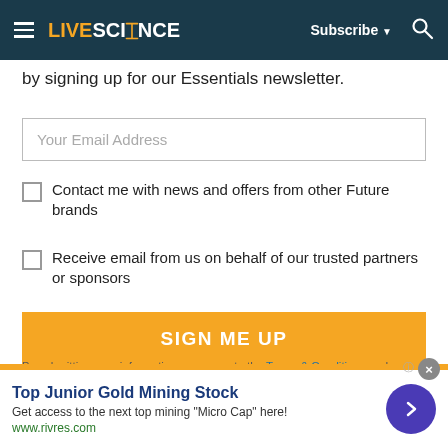LIVESCIENCE | Subscribe | Search
by signing up for our Essentials newsletter.
Your Email Address
Contact me with news and offers from other Future brands
Receive email from us on behalf of our trusted partners or sponsors
SIGN ME UP
By submitting your information you agree to the Terms & Conditions and Privacy Policy and are aged 16 or over.
[Figure (other): Advertisement banner: Top Junior Gold Mining Stock. Get access to the next top mining "Micro Cap" here! www.rivres.com with a purple circular arrow button.]